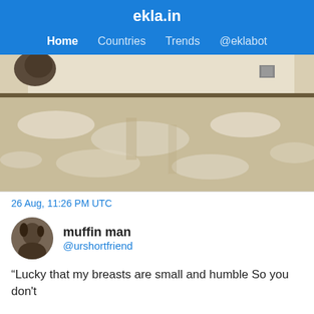ekla.in
Home  Countries  Trends  @eklabot
[Figure (photo): A low-angle photo of a carpet or floor with light beige tones and white patches, with curtains and a dark object visible in the background.]
26 Aug, 11:26 PM UTC
muffin man
@urshortfriend
“Lucky that my breasts are small and humble So you don't